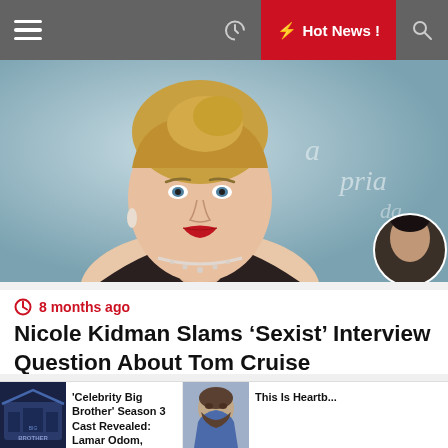Hot News !
[Figure (photo): Photo of a blonde woman (Nicole Kidman) in an elegant dress with a diamond necklace, against a light blue background, with a small circular inset of a man's face in the lower right corner]
8 months ago
Nicole Kidman Slams ‘Sexist’ Interview Question About Tom Cruise
[Figure (photo): Photo of a man singing into a microphone on stage with dramatic red and purple lighting]
[Figure (photo): Thumbnail image showing a Big Brother house graphic]
'Celebrity Big Brother' Season 3 Cast Revealed: Lamar Odom, Shanna...
[Figure (photo): Thumbnail of a bearded man in a denim jacket]
This Is Heartb...